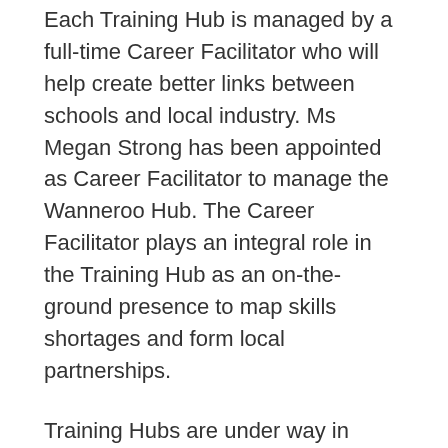Each Training Hub is managed by a full-time Career Facilitator who will help create better links between schools and local industry. Ms Megan Strong has been appointed as Career Facilitator to manage the Wanneroo Hub. The Career Facilitator plays an integral role in the Training Hub as an on-the-ground presence to map skills shortages and form local partnerships.
Training Hubs are under way in Burnie, Townsville, Maryborough, Port Pirie, Shepparton, Armadale (WA), and Gosford.
More details can be found at:
https://www.dese.gov.au/industry-training-hubs